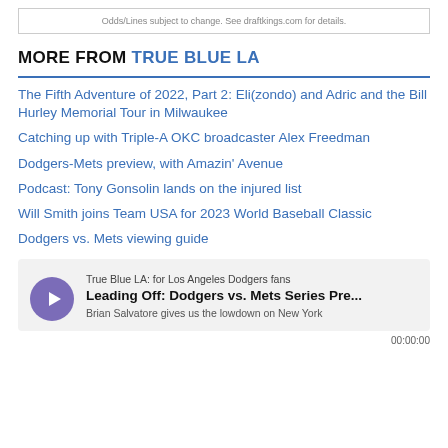Odds/Lines subject to change. See draftkings.com for details.
MORE FROM TRUE BLUE LA
The Fifth Adventure of 2022, Part 2: Eli(zondo) and Adric and the Bill Hurley Memorial Tour in Milwaukee
Catching up with Triple-A OKC broadcaster Alex Freedman
Dodgers-Mets preview, with Amazin' Avenue
Podcast: Tony Gonsolin lands on the injured list
Will Smith joins Team USA for 2023 World Baseball Classic
Dodgers vs. Mets viewing guide
[Figure (other): Podcast player widget: True Blue LA: for Los Angeles Dodgers fans — Leading Off: Dodgers vs. Mets Series Pre... — Brian Salvatore gives us the lowdown on New York — 00:00:00]